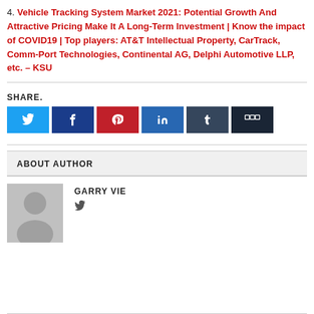4. Vehicle Tracking System Market 2021: Potential Growth And Attractive Pricing Make It A Long-Term Investment | Know the impact of COVID19 | Top players: AT&T Intellectual Property, CarTrack, Comm-Port Technologies, Continental AG, Delphi Automotive LLP, etc. – KSU
SHARE.
[Figure (other): Social share buttons: Twitter (light blue), Facebook (dark blue), Pinterest (red), LinkedIn (medium blue), Tumblr (dark blue-grey), Apps (dark navy)]
ABOUT AUTHOR
GARRY VIE
[Figure (illustration): Grey placeholder avatar image showing a generic person silhouette]